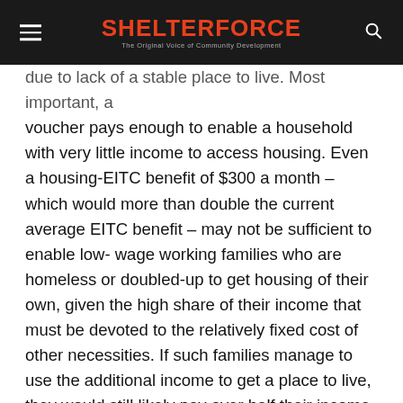SHELTERFORCE — The Original Voice of Community Development
due to lack of a stable place to live. Most important, a voucher pays enough to enable a household with very little income to access housing. Even a housing-EITC benefit of $300 a month – which would more than double the current average EITC benefit – may not be sufficient to enable low-wage working families who are homeless or doubled-up to get housing of their own, given the high share of their income that must be devoted to the relatively fixed cost of other necessities. If such families manage to use the additional income to get a place to live, they would still likely pay over half their income for housing that may be in bad shape and located in dangerous neighborhoods with low-performing schools. In contrast, housing vouchers, with an average monthly benefit of $560 and more in higher cost areas, work to enable the lowest-income families – those with the greatest housing needs – to access housing.